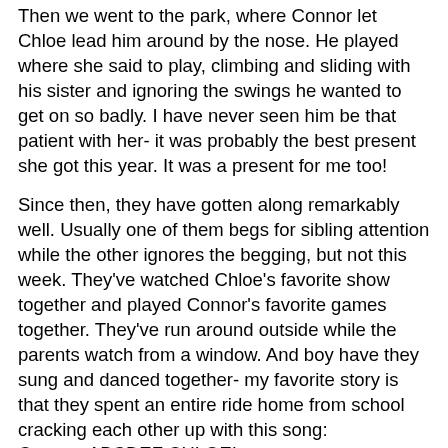Then we went to the park, where Connor let Chloe lead him around by the nose. He played where she said to play, climbing and sliding with his sister and ignoring the swings he wanted to get on so badly. I have never seen him be that patient with her- it was probably the best present she got this year. It was a present for me too!
Since then, they have gotten along remarkably well. Usually one of them begs for sibling attention while the other ignores the begging, but not this week. They've watched Chloe's favorite show together and played Connor's favorite games together. They've run around outside while the parents watch from a window. And boy have they sung and danced together- my favorite story is that they spent an entire ride home from school cracking each other up with this song:
Connor: ABCDEF CHLOE!
Chloe: HIJK SONNER!
Both: HAHAHAHAHA!
Their good will has been extended to their parents, too. They haven't whined about who is sitting where, or which parent is bathing which kid, and they've even been somewhat willing